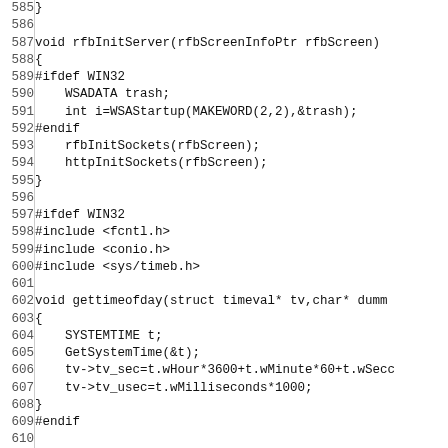Code listing lines 585–615, C source code showing rfbInitServer, WIN32 conditionals, gettimeofday, and rfbProcessEvents functions